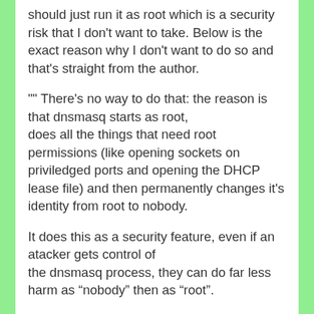should just run it as root which is a security risk that I don't want to take. Below is the exact reason why I don't want to do so and that's straight from the author.
"" There's no way to do that: the reason is that dnsmasq starts as root, does all the things that need root permissions (like opening sockets on priviledged ports and opening the DHCP lease file) and then permanently changes it's identity from root to nobody.
It does this as a security feature, even if an atacker gets control of the dnsmasq process, they can do far less harm as “nobody” then as “root”.
Since changes to the configuration file could involve some root-only